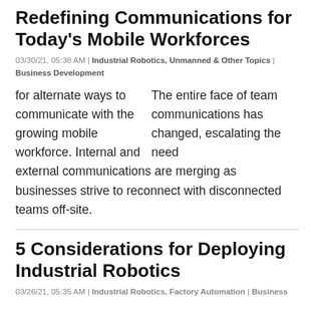Redefining Communications for Today's Mobile Workforces
03/30/21, 05:38 AM | Industrial Robotics, Unmanned & Other Topics | Business Development
The entire face of team communications has changed, escalating the need for alternate ways to communicate with the growing mobile workforce. Internal and external communications are merging as businesses strive to reconnect with disconnected teams off-site.
5 Considerations for Deploying Industrial Robotics
03/26/21, 05:35 AM | Industrial Robotics, Factory Automation | Business Development